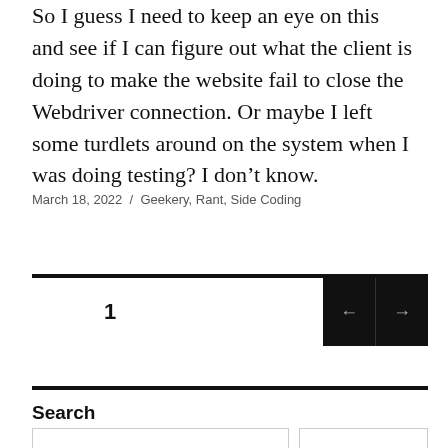So I guess I need to keep an eye on this and see if I can figure out what the client is doing to make the website fail to close the Webdriver connection. Or maybe I left some turdlets around on the system when I was doing testing? I don't know.
March 18, 2022 / Geekery, Rant, Side Coding
1
Search